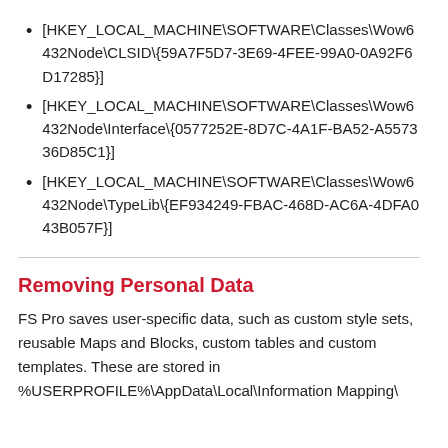[HKEY_LOCAL_MACHINE\SOFTWARE\Classes\Wow6432Node\CLSID\{59A7F5D7-3E69-4FEE-99A0-0A92F6D17285}]
[HKEY_LOCAL_MACHINE\SOFTWARE\Classes\Wow6432Node\Interface\{0577252E-8D7C-4A1F-BA52-A557336D85C1}]
[HKEY_LOCAL_MACHINE\SOFTWARE\Classes\Wow6432Node\TypeLib\{EF934249-FBAC-468D-AC6A-4DFA043B057F}]
Removing Personal Data
FS Pro saves user-specific data, such as custom style sets, reusable Maps and Blocks, custom tables and custom templates. These are stored in %USERPROFILE%\AppData\Local\Information Mapping\